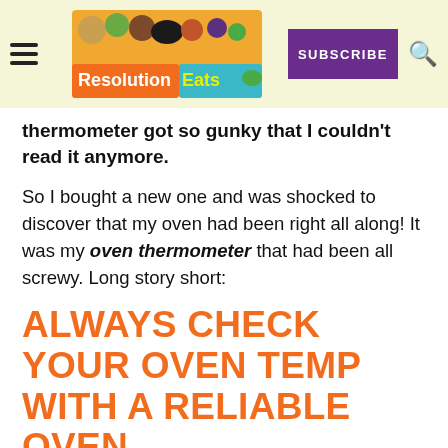Resolution Eats — SUBSCRIBE
thermometer got so gunky that I couldn't read it anymore.
So I bought a new one and was shocked to discover that my oven had been right all along!  It was my oven thermometer that had been all screwy.  Long story short:
ALWAYS CHECK YOUR OVEN TEMP WITH A RELIABLE OVEN THERMOMETER.
[Figure (photo): Bottom portion of a photo with light teal/mint background, partially visible]